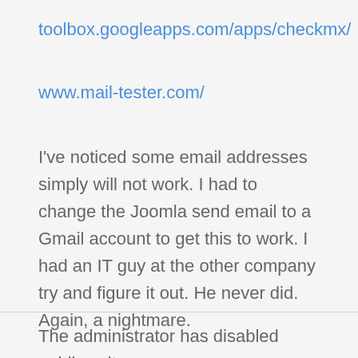toolbox.googleapps.com/apps/checkmx/
www.mail-tester.com/
I've noticed some email addresses simply will not work. I had to change the Joomla send email to a Gmail account to get this to work. I had an IT guy at the other company try and figure it out. He never did. Again, a nightmare.
The administrator has disabled public write